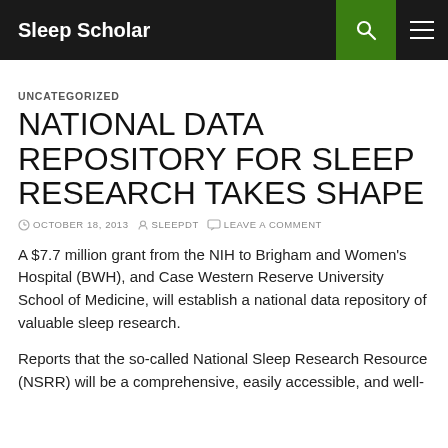Sleep Scholar
UNCATEGORIZED
NATIONAL DATA REPOSITORY FOR SLEEP RESEARCH TAKES SHAPE
OCTOBER 18, 2013  SLEEPDT  LEAVE A COMMENT
A $7.7 million grant from the NIH to Brigham and Women's Hospital (BWH), and Case Western Reserve University School of Medicine, will establish a national data repository of valuable sleep research.
Reports that the so-called National Sleep Research Resource (NSRR) will be a comprehensive, easily accessible, and well-